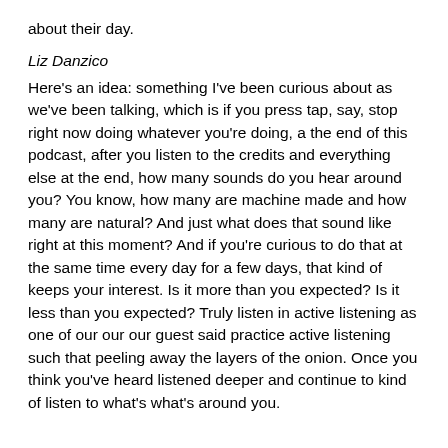about their day.
Liz Danzico
Here's an idea: something I've been curious about as we've been talking, which is if you press tap, say, stop right now doing whatever you're doing, a the end of this podcast, after you listen to the credits and everything else at the end, how many sounds do you hear around you? You know, how many are machine made and how many are natural? And just what does that sound like right at this moment? And if you're curious to do that at the same time every day for a few days, that kind of keeps your interest. Is it more than you expected? Is it less than you expected? Truly listen in active listening as one of our our our guest said practice active listening such that peeling away the layers of the onion. Once you think you've heard listened deeper and continue to kind of listen to what's what's around you.